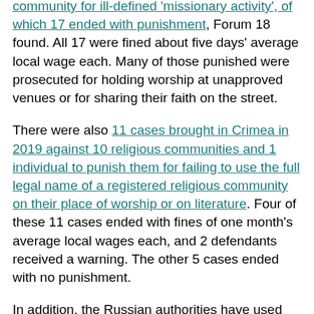community for ill-defined 'missionary activity', of which 17 ended with punishment, Forum 18 found. All 17 were fined about five days' average local wage each. Many of those punished were prosecuted for holding worship at unapproved venues or for sharing their faith on the street.
There were also 11 cases brought in Crimea in 2019 against 10 religious communities and 1 individual to punish them for failing to use the full legal name of a registered religious community on their place of worship or on literature. Four of these 11 cases ended with fines of one month's average local wages each, and 2 defendants received a warning. The other 5 cases ended with no punishment.
In addition, the Russian authorities have used "extremism"-related criminal prosecutions in Crimea to punish the exercise of freedom of religion or belief.
Crimean Muslim prisoner of conscience Renat Suleimanov is serving a four-year jail term in a labour camp in Russia as a member of the Muslim missionary